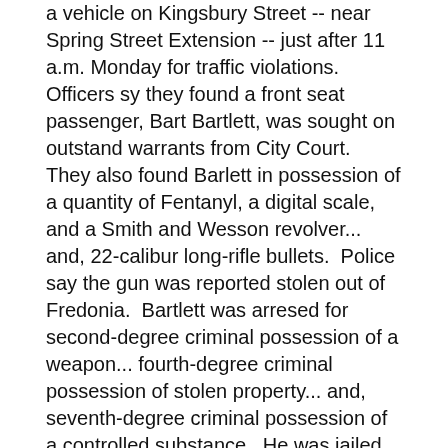a vehicle on Kingsbury Street -- near Spring Street Extension -- just after 11 a.m. Monday for traffic violations.  Officers sy they found a front seat passenger, Bart Bartlett, was sought on outstand warrants from City Court.  They also found Barlett in possession of a quantity of Fentanyl, a digital scale, and a Smith and Wesson revolver... and, 22-calibur long-rifle bullets.  Police say the gun was reported stolen out of Fredonia.  Bartlett was arresed for second-degree criminal possession of a weapon... fourth-degree criminal possession of stolen property... and, seventh-degree criminal possession of a controlled substance.  He was jailed pending arraignment.
Jamestown Area YMCA proposing new facility near Brooklyn Square area...
The Jamestown-area YMCA is proposing a new, 68,000 square foot facility to replace it's current, 100-year-old facility on the city's eastside.  Officials are planning to